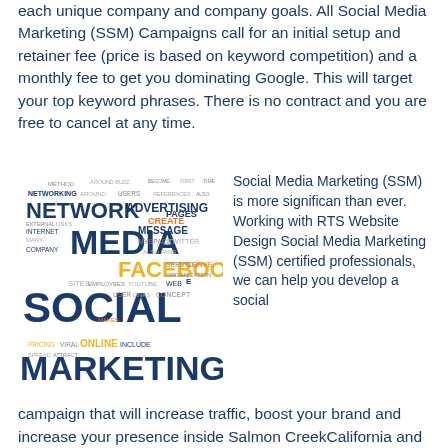each unique company and company goals. All Social Media Marketing (SSM) Campaigns call for an initial setup and retainer fee (price is based on keyword competition) and a monthly fee to get you dominating Google. This will target your top keyword phrases. There is no contract and you are free to cancel at any time.
[Figure (illustration): Social media marketing word cloud showing terms like NETWORK, MEDIA, SOCIAL, MARKETING, FACEBOOK, ADVERTISING, ONLINE, VIRAL, etc. in various sizes and colors including dark blue, yellow, orange, and gray.]
Social Media Marketing (SSM) is more significan than ever. Working with RTS Website Design Social Media Marketing (SSM) certified professionals, we can help you develop a social campaign that will increase traffic, boost your brand and increase your presence inside Salmon CreekCalifornia and